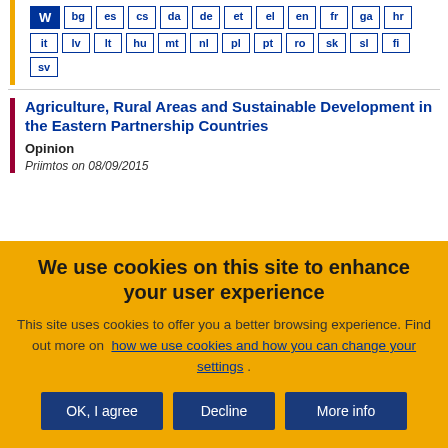[Figure (other): Language selector buttons grid with W active and languages: bg, es, cs, da, de, et, el, en, fr, ga, hr, it, lv, lt, hu, mt, nl, pl, pt, ro, sk, sl, fi, sv]
Agriculture, Rural Areas and Sustainable Development in the Eastern Partnership Countries
Opinion
Priimtos on 08/09/2015
We use cookies on this site to enhance your user experience
This site uses cookies to offer you a better browsing experience. Find out more on how we use cookies and how you can change your settings .